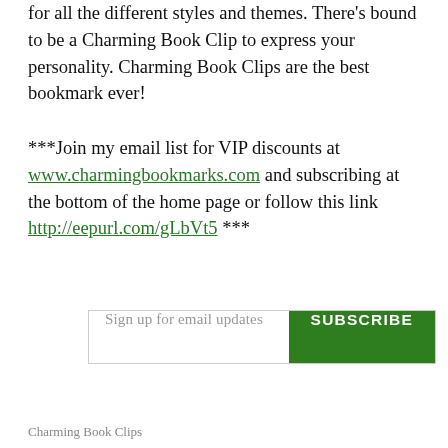for all the different styles and themes. There's bound to be a Charming Book Clip to express your personality. Charming Book Clips are the best bookmark ever!
***Join my email list for VIP discounts at www.charmingbookmarks.com and subscribing at the bottom of the home page or follow this link http://eepurl.com/gLbVt5 ***
[Figure (other): Email subscription widget with text input 'Sign up for email updates' and green SUBSCRIBE button]
Charming Book Clips